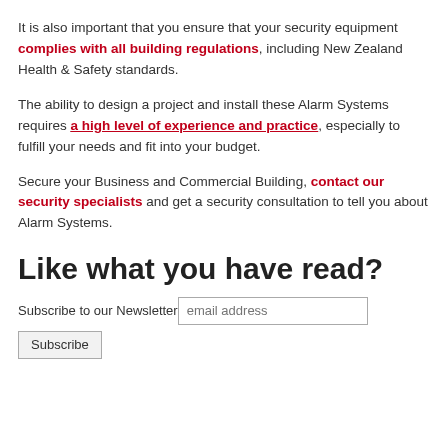It is also important that you ensure that your security equipment complies with all building regulations, including New Zealand Health & Safety standards.
The ability to design a project and install these Alarm Systems requires a high level of experience and practice, especially to fulfill your needs and fit into your budget.
Secure your Business and Commercial Building, contact our security specialists and get a security consultation to tell you about Alarm Systems.
Like what you have read?
Subscribe to our Newsletter  [email address input]  [Subscribe button]